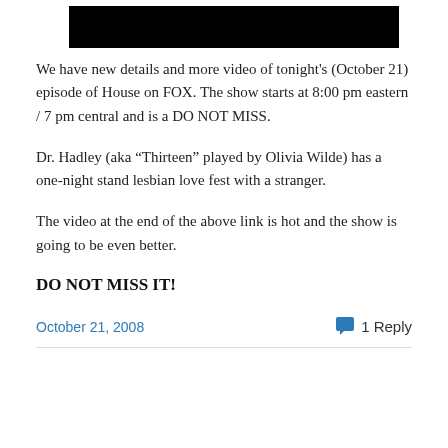[Figure (other): Black rectangular image/video thumbnail at top of page]
We have new details and more video of tonight's (October 21) episode of House on FOX. The show starts at 8:00 pm eastern / 7 pm central and is a DO NOT MISS.
Dr. Hadley (aka “Thirteen” played by Olivia Wilde) has a one-night stand lesbian love fest with a stranger.
The video at the end of the above link is hot and the show is going to be even better.
DO NOT MISS IT!
October 21, 2008   1 Reply